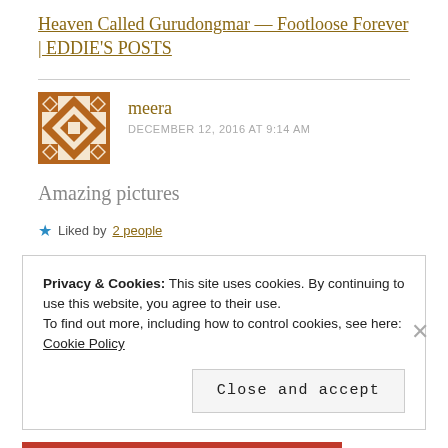Heaven Called Gurudongmar — Footloose Forever | EDDIE'S POSTS
meera
DECEMBER 12, 2016 AT 9:14 AM
Amazing pictures
★ Liked by 2 people
Privacy & Cookies: This site uses cookies. By continuing to use this website, you agree to their use.
To find out more, including how to control cookies, see here:
Cookie Policy
Close and accept